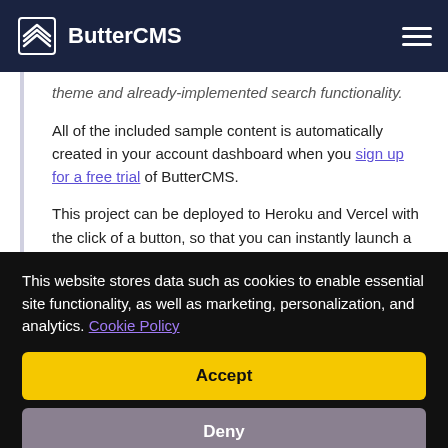ButterCMS
theme and already-implemented search functionality.
All of the included sample content is automatically created in your account dashboard when you sign up for a free trial of ButterCMS.
This project can be deployed to Heroku and Vercel with the click of a button, so that you can instantly launch a Vue.js site that's fully integrated with ButterCMS. Just pick your provider and click the
This website stores data such as cookies to enable essential site functionality, as well as marketing, personalization, and analytics. Cookie Policy
Accept
Deny